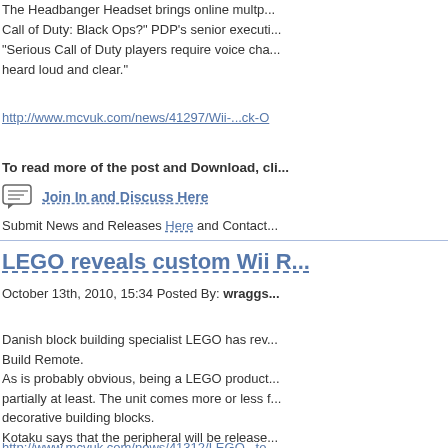The Headbanger Headset brings online multp... Call of Duty: Black Ops?" PDP's senior executi... "Serious Call of Duty players require voice cha... heard loud and clear."
http://www.mcvuk.com/news/41297/Wii-...ck-O
To read more of the post and Download, cli...
Join In and Discuss Here
Submit News and Releases Here and Contact
LEGO reveals custom Wii R...
October 13th, 2010, 15:34 Posted By: wraggs
Danish block building specialist LEGO has rev... Build Remote.
As is probably obvious, being a LEGO product... partially at least. The unit comes more or less f... decorative building blocks.
Kotaku says that the peripheral will be release... launch as of yet.
http://www.mcvuk.com/news/41312/LEGO...to
To read more of the post and Download, cli...